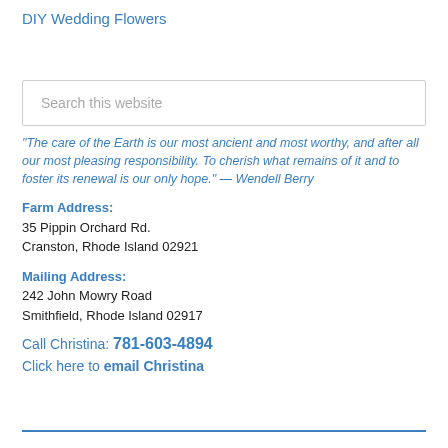DIY Wedding Flowers
"The care of the Earth is our most ancient and most worthy, and after all our most pleasing responsibility. To cherish what remains of it and to foster its renewal is our only hope." — Wendell Berry
Farm Address:
35 Pippin Orchard Rd.
Cranston, Rhode Island 02921
Mailing Address:
242 John Mowry Road
Smithfield, Rhode Island 02917
Call Christina: 781-603-4894
Click here to email Christina